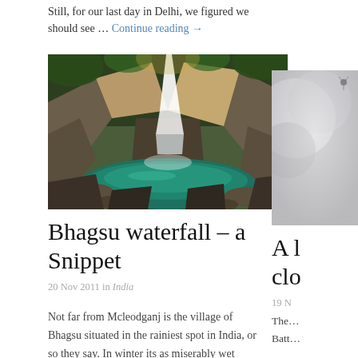Still, for our last day in Delhi, we figured we should see … Continue reading →
[Figure (photo): Waterfall cascading over rocky cliffs into a green pool, surrounded by lush forest vegetation — Bhagsu waterfall, India]
Bhagsu waterfall – a Snippet
20 Nov 2011 in India
Not far from Mcleodganj is the village of Bhagsu situated in the rainiest spot in India, or so they say. In winter its as miserably wet
[Figure (photo): Partial view of a silver/grey abstract or nature photo on the right side]
A l… clo…
19 N…
The… Batt…